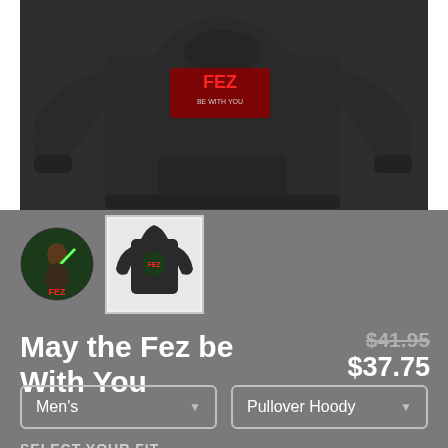[Figure (photo): Dark charcoal pullover hoodie displayed flat, showing front with graphic logo on chest area including red text and design elements]
[Figure (photo): Small circular sticker thumbnail showing Fez character with lightsaber graphic]
[Figure (photo): Small square thumbnail of the hoodie showing back/alternate view with dark background]
May the Fez be With You
$41.95  $37.75
Men's
Pullover Hoody
SELECT YOUR FIT